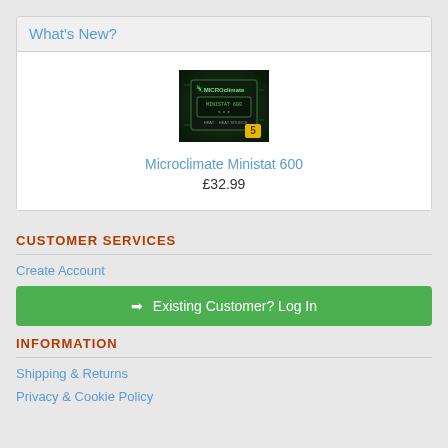What's New?
[Figure (photo): Microclimate Ministat 600 product image - a thermostat controller with green LED display on dark circuit board background, with a yellow badge showing '5']
Microclimate Ministat 600
£32.99
CUSTOMER SERVICES
Create Account
➡ Existing Customer? Log In
INFORMATION
Shipping & Returns
Privacy & Cookie Policy